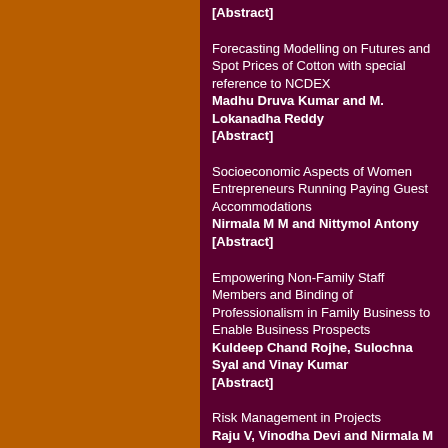[Abstract]
Forecasting Modelling on Futures and Spot Prices of Cotton with special reference to NCDEX
Madhu Druva Kumar and M. Lokanadha Reddy
[Abstract]
Socioeconomic Aspects of Women Entrepreneurs Running Paying Guest Accommodations
Nirmala M M and Nittymol Antony
[Abstract]
Empowering Non-Family Staff Members and Binding of Professionalism in Family Business to Enable Business Prospects
Kuldeep Chand Rojhe, Sulochna Syal and Vinay Kumar
[Abstract]
Risk Management in Projects
Raju V, Vinodha Devi and Nirmala M M
[Abstract]